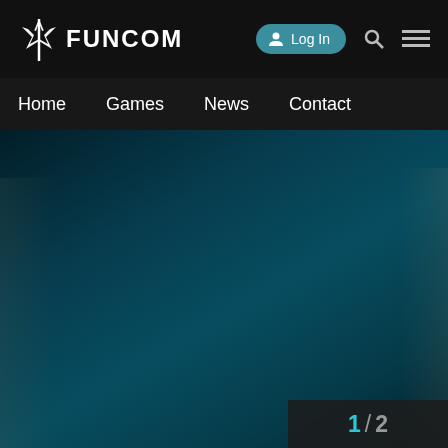[Figure (logo): Funcom logo with stylized white bird/star icon and FUNCOM text]
Log In
Home  Games  News  Contact
[Figure (screenshot): Dark teal game screenshot background with faint character silhouettes]
1 / 2